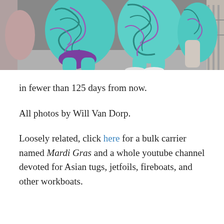[Figure (photo): People with teal and purple body paint at an outdoor event, with metal barriers visible in the background.]
in fewer than 125 days from now.
All photos by Will Van Dorp.
Loosely related, click here for a bulk carrier named Mardi Gras and a whole youtube channel devoted for Asian tugs, jetfoils, fireboats, and other workboats.